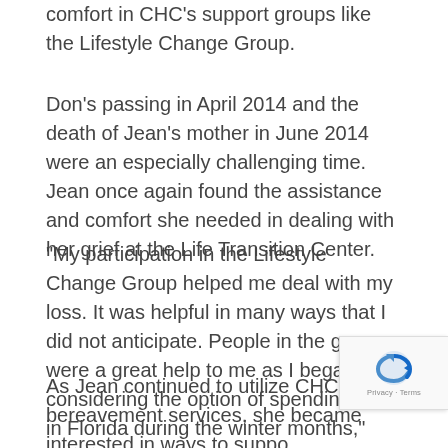comfort in CHC's support groups like the Lifestyle Change Group.
Don's passing in April 2014 and the death of Jean's mother in June 2014 were an especially challenging time. Jean once again found the assistance and comfort she needed in dealing with her grief at the Life Transition Center.
“My participation in the Lifestyle Change Group helped me deal with my loss. It was helpful in many ways that I did not anticipate. People in the group were a great help to me as I began considering the option of spending time in Florida during the winter months,” Jean said.
As Jean continued to utilize CHC's bereavement services, she became interested in ways to support CHC's grief counseling program. She was impressed that bereavement services are provided at no charge to